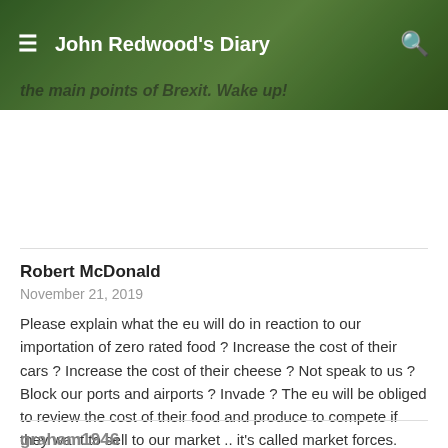John Redwood's Diary
the main points of Brexit. Wake up!
Robert McDonald
November 21, 2019
Please explain what the eu will do in reaction to our importation of zero rated food ? Increase the cost of their cars ? Increase the cost of their cheese ? Not speak to us ? Block our ports and airports ? Invade ? The eu will be obliged to review the cost of their food and produce to compete if they want to sell to our market .. it's called market forces.
graham1946